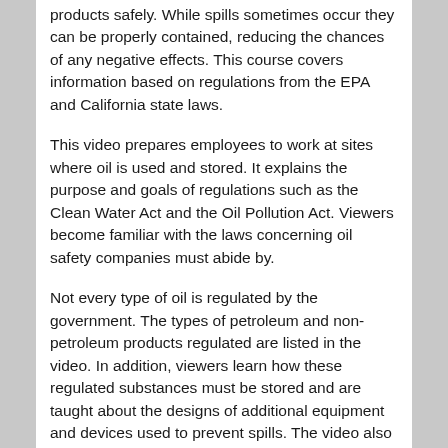products safely. While spills sometimes occur they can be properly contained, reducing the chances of any negative effects. This course covers information based on regulations from the EPA and California state laws.
This video prepares employees to work at sites where oil is used and stored. It explains the purpose and goals of regulations such as the Clean Water Act and the Oil Pollution Act. Viewers become familiar with the laws concerning oil safety companies must abide by.
Not every type of oil is regulated by the government. The types of petroleum and non-petroleum products regulated are listed in the video. In addition, viewers learn how these regulated substances must be stored and are taught about the designs of additional equipment and devices used to prevent spills. The video also alerts workers of when oils spills are most likely to occur.
Workers learn proper techniques for maintenance and inspection of storage tanks and spill prevention equipment